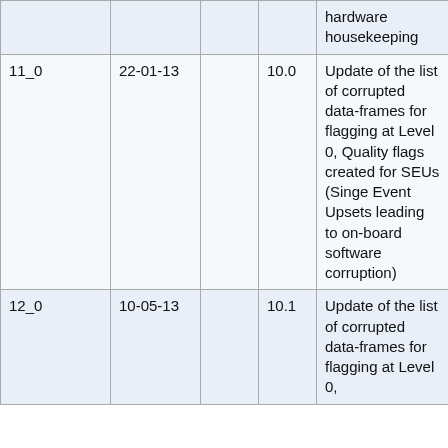|  |  |  |  |  |
| --- | --- | --- | --- | --- |
|  |  |  |  | hardware housekeeping |
| 11_0 | 22-01-13 |  | 10.0 | Update of the list of corrupted data-frames for flagging at Level 0, Quality flags created for SEUs (Singe Event Upsets leading to on-board software corruption) |
| 12_0 | 10-05-13 |  | 10.1 | Update of the list of corrupted data-frames for flagging at Level 0, |